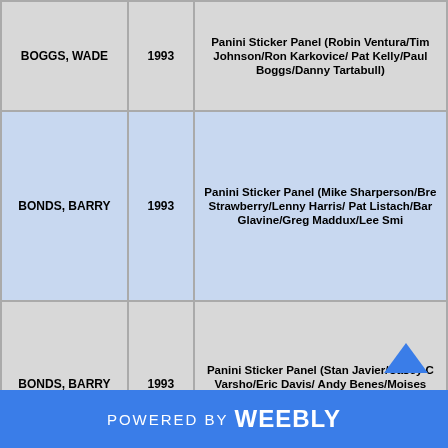| Player | Year | Description |
| --- | --- | --- |
| BOGGS, WADE | 1993 | Panini Sticker Panel (Robin Ventura/Tim Johnson/Ron Karkovice/ Pat Kelly/Paul Boggs/Danny Tartabull) |
| BONDS, BARRY | 1993 | Panini Sticker Panel (Mike Sharperson/Bre Strawberry/Lenny Harris/ Pat Listach/Bar Glavine/Greg Maddux/Lee Smi |
| BONDS, BARRY | 1993 | Panini Sticker Panel (Stan Javier/Casey C Varsho/Eric Davis/ Andy Benes/Moises Alou Bonds) |
POWERED BY weebly